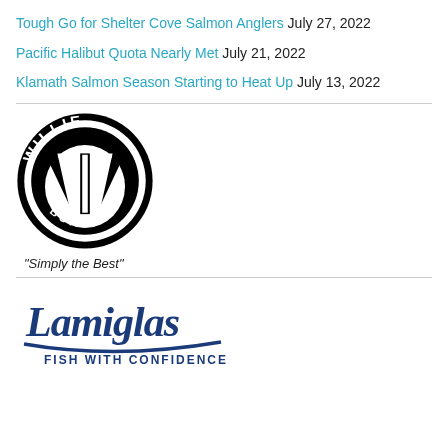Tough Go for Shelter Cove Salmon Anglers July 27, 2022
Pacific Halibut Quota Nearly Met July 21, 2022
Klamath Salmon Season Starting to Heat Up July 13, 2022
[Figure (logo): Willie Boats logo — circular black logo with 'WILLIE' arched at top, 'BOATS' at bottom, and a stylized W emblem in center]
"Simply the Best"
[Figure (logo): Lamiglas logo — blue script text 'Lamiglas' with underline swoosh, and 'FISH WITH CONFIDENCE' in bold blue caps below]